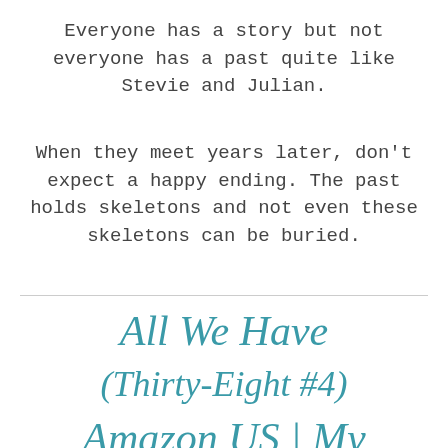Everyone has a story but not everyone has a past quite like Stevie and Julian.
When they meet years later, don't expect a happy ending. The past holds skeletons and not even these skeletons can be buried.
All We Have
(Thirty-Eight #4)
Amazon US | My